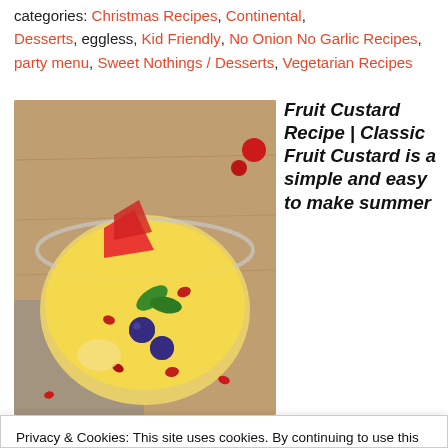categories: Christmas Recipes, Continental, Desserts, eggless, Kid Friendly, No Onion No Garlic Recipes, party menu, Sweet Nothings / Desserts, Vegetarian Recipes
[Figure (photo): Overhead close-up photo of a glass bowl of fruit custard topped with strawberries, blueberries, pomegranate seeds, and mint leaves, on a wooden board with scattered fruits.]
Fruit Custard Recipe | Classic Fruit Custard is a simple and easy to make summer
Privacy & Cookies: This site uses cookies. By continuing to use this website, you agree to their use.
To find out more, including how to control cookies, see here: Cookie Policy
Close and accept